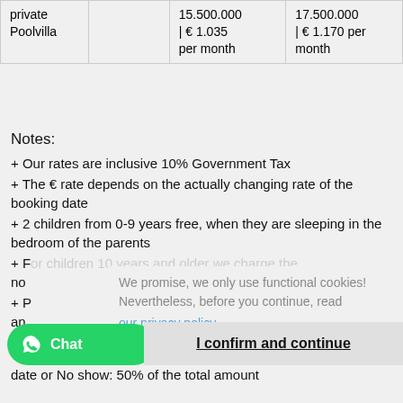|  |  |  |  |
| --- | --- | --- | --- |
| private Poolvilla |  | 15.500.000 | € 1.035 per month | 17.500.000 | € 1.170 per month |
Notes:
+ Our rates are inclusive 10% Government Tax
+ The € rate depends on the actually changing rate of the booking date
+ 2 children from 0-9 years free, when they are sleeping in the bedroom of the parents
+ For children 10 years and older we charge the no
+ P an
+ c
We promise, we only use functional cookies! Nevertheless, before you continue, read our privacy policy
Chat
I confirm and continue
date or No show: 50% of the total amount